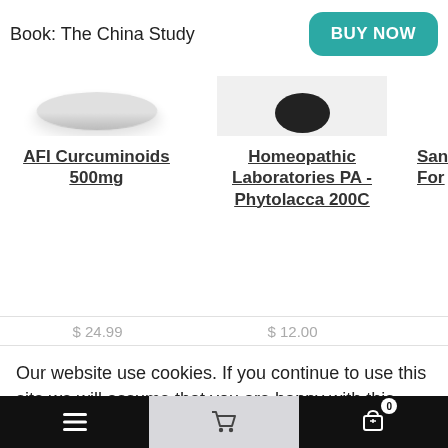Book: The China Study
BUY NOW
AFI Curcuminoids 500mg
Homeopathic Laboratories PA - Phytolacca 200C
San For
$ 24.99
$ 12.00
Our website use cookies. If you continue to use this site we will assume that you are happy with this.
More about cookies: www.aboutcookies.org
ACCEPT COOKIES